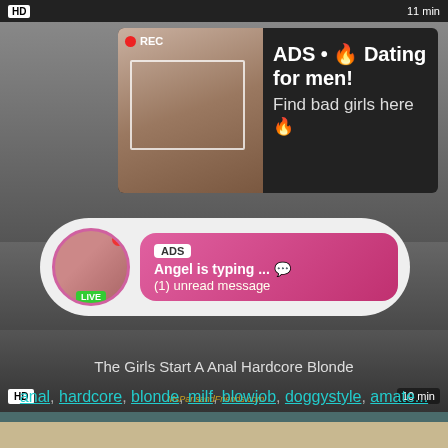[Figure (screenshot): Top video thumbnail strip with HD badge and 11 min label]
[Figure (screenshot): Advertisement overlay popup with REC indicator, photo of woman, and text: ADS • Dating for men! Find bad girls here]
ADS • 🔥 Dating for men! Find bad girls here 🔥
gagg... o s...
[Figure (screenshot): Video thumbnail with live chat bubble overlay showing: ADS, Angel is typing ... (1) unread message, LIVE badge, HD and 10 min labels, MsParisandFriends.com watermark]
ADS
Angel is typing ... 💬
(1) unread message
The Girls Start A Anal Hardcore Blonde
anal, hardcore, blonde, milf, blowjob, doggystyle, amate...
[Figure (screenshot): Bottom partial video thumbnail]